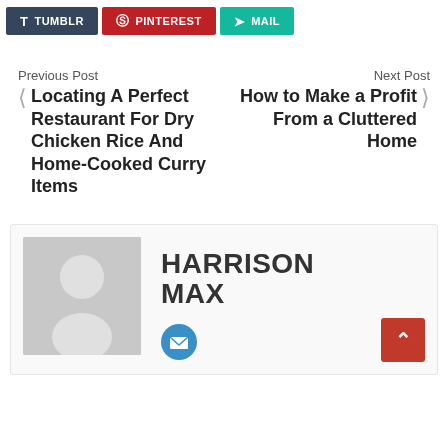[Figure (infographic): Social sharing buttons: Tumblr (dark blue), Pinterest (red), Mail (teal)]
Previous Post
Locating A Perfect Restaurant For Dry Chicken Rice And Home-Cooked Curry Items
Next Post
How to Make a Profit From a Cluttered Home
[Figure (photo): Author avatar placeholder - grey silhouette of a person]
HARRISON MAX
[Figure (infographic): Email/mail icon button (blue circle with envelope)]